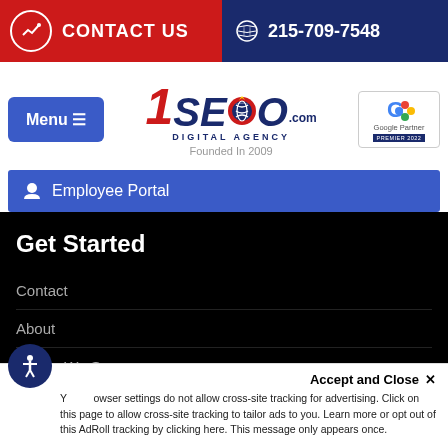CONTACT US | 215-709-7548
[Figure (logo): 1SEO Digital Agency logo with Google Partner badge, founded in 2009]
Menu ☰
Employee Portal
Get Started
Contact
About
Where We Serve
Accept and Close ✕ Your browser settings do not allow cross-site tracking for advertising. Click on this page to allow cross-site tracking to tailor ads to you. Learn more or opt out of this AdRoll tracking by clicking here. This message only appears once.